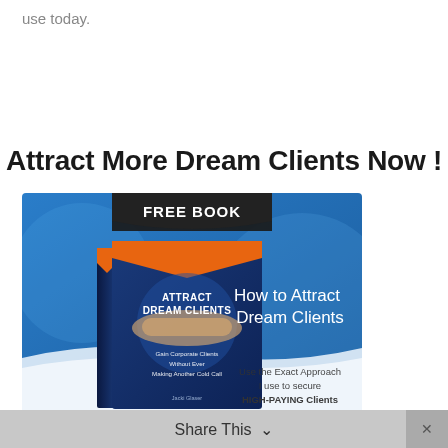use today.
Attract More Dream Clients Now !
[Figure (illustration): Advertisement banner for a free book titled 'Attract Dream Clients' showing a book cover on a blue background with text: FREE BOOK, How to Attract Dream Clients, Use the Exact Approach I use to secure HIGH-PAYING Clients. Book subtitle: Gain Corporate Clients Without Ever Making Another Cold Call.]
Share This ∨